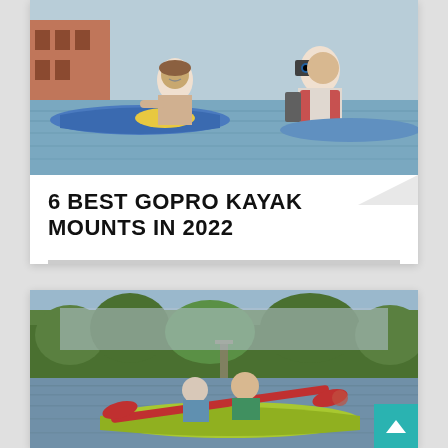[Figure (photo): Two people kayaking on water. A smiling woman in a kayak looks back at a man wearing a red life vest who is photographing her with a camera. Colorful kayaks visible.]
6 BEST GOPRO KAYAK MOUNTS IN 2022
[Figure (photo): An older couple kayaking together on a calm lake or river. Surrounded by green trees. They are paddling a bright yellow-green kayak with red paddles. A teal scroll-to-top button with an upward arrow is visible in the bottom right corner.]